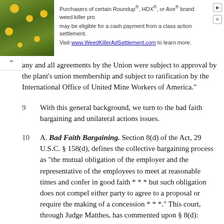[Figure (other): Advertisement banner: image of yellow flowers on rocks on the left, text on the right reading 'Purchasers of certain Roundup®, HDX®, or Ace® brand weed killer products may be eligible for a cash payment from a class action settlement. Visit www.WeedKillerAdSettlement.com to learn more.']
any and all agreements by the Union were subject to approval by the plant's union membership and subject to ratification by the International Office of United Mine Workers of America."
9  With this general background, we turn to the bad faith bargaining and unilateral actions issues.
10  A. Bad Faith Bargaining. Section 8(d) of the Act, 29 U.S.C. § 158(d), defines the collective bargaining process as "the mutual obligation of the employer and the representative of the employees to meet at reasonable times and confer in good faith * * * but such obligation does not compel either party to agree to a proposal or require the making of a concession * * *." This court, through Judge Matthes, has commented upon § 8(d):
11  "The employer is under a duty to enter into sincere, good faith negotiations with the constituted representative of the employees, with an intent to settle the differences and to arrive at an agreement. Mere pretense at negotiation with a completely closed mind and without this spirit of cooperation and good faith does not satisfy the